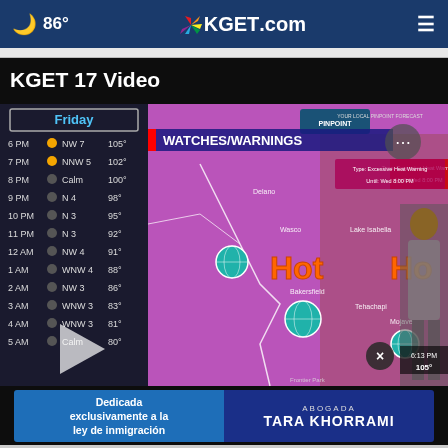🌙 86° KGET.com ≡
KGET 17 Video
[Figure (screenshot): Video thumbnail showing a weather broadcast from KGET. Left panel shows Friday hourly forecast with times from 6PM to 5AM, wind directions, and temperatures ranging from 105° to 80°. Right panel shows a weather map with Watches/Warnings - Excessive Heat Warning Until Wed 8:00 PM, HOT labels over the Bakersfield/Kern County area including Wasco, Lake Isabella, Bakersfield, Tehachapi, Mojave. A female meteorologist stands at right. A play button overlay is visible. A close (X) button and time 6:13 PM / 105° appear in bottom right corner.]
[Figure (screenshot): Advertisement banner: left side blue - 'Dedicada exclusivamente a la ley de inmigración'; right side darker blue - 'ABOGADA TARA KHORRAMI']